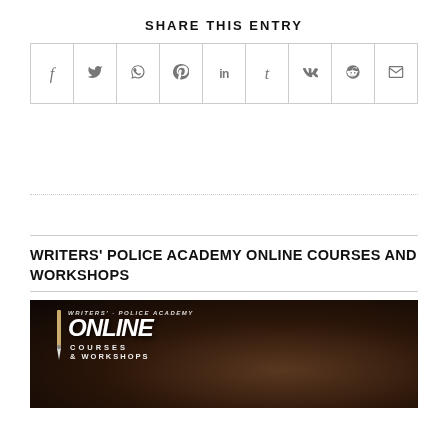SHARE THIS ENTRY
| f | 𝕏 | © | 𝒫 | in | t | 𝕍𝕂 | reddit | ✉ |
| --- | --- | --- | --- | --- | --- | --- | --- | --- |
|  |
WRITERS' POLICE ACADEMY ONLINE COURSES AND WORKSHOPS
[Figure (photo): Writers' Police Academy Online Courses and Workshops promotional banner image showing a dark background with the Writers' Police Academy logo and the text ONLINE COURSES & WORKSHOPS]